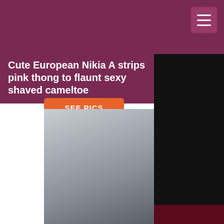Cute European Nikia A strips pink thong to flaunt sexy shaved cameltoe
[Figure (photo): Button with text 'See Pics' in orange on white background]
[Figure (photo): Young woman posing in front of a gaming chair, topless]
[Figure (photo): Dark right panel area, black background with dark red strip at bottom]